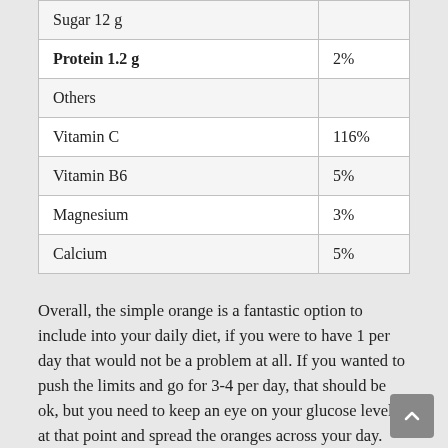| Nutrient | % Daily Value |
| --- | --- |
| Sugar 12 g |  |
| Protein 1.2 g | 2% |
| Others |  |
| Vitamin C | 116% |
| Vitamin B6 | 5% |
| Magnesium | 3% |
| Calcium | 5% |
Overall, the simple orange is a fantastic option to include into your daily diet, if you were to have 1 per day that would not be a problem at all. If you wanted to push the limits and go for 3-4 per day, that should be ok, but you need to keep an eye on your glucose levels at that point and spread the oranges across your day.